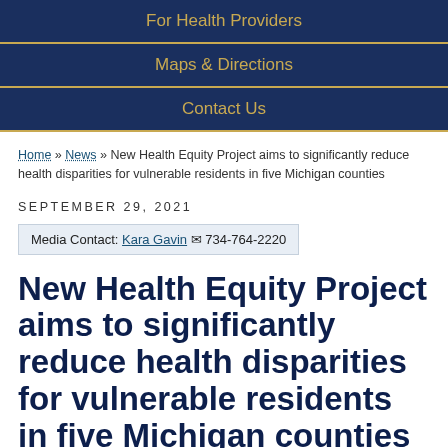For Health Providers
Maps & Directions
Contact Us
Home » News » New Health Equity Project aims to significantly reduce health disparities for vulnerable residents in five Michigan counties
SEPTEMBER 29, 2021
Media Contact: Kara Gavin ✉ 734-764-2220
New Health Equity Project aims to significantly reduce health disparities for vulnerable residents in five Michigan counties